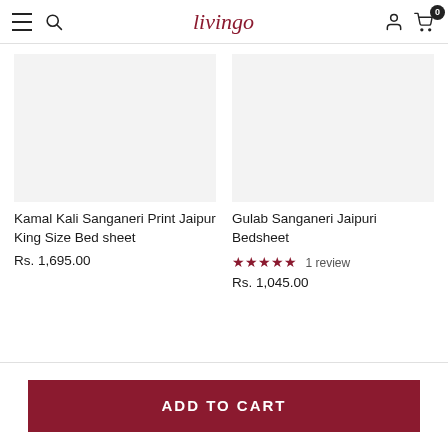livingo — navigation bar with hamburger menu, search, user icon, cart (0)
Kamal Kali Sanganeri Print Jaipur King Size Bed sheet
Rs. 1,695.00
Gulab Sanganeri Jaipuri Bedsheet
★★★★★ 1 review
Rs. 1,045.00
ADD TO CART